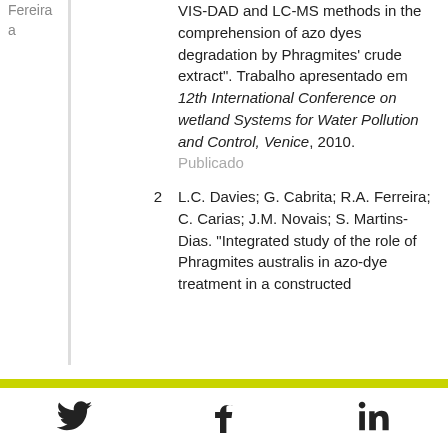| Author | Number | Reference |
| --- | --- | --- |
| Fereira | 1 (cont.) | VIS-DAD and LC-MS methods in the comprehension of azo dyes degradation by Phragmites' crude extract". Trabalho apresentado em 12th International Conference on wetland Systems for Water Pollution and Control, Venice, 2010. Publicado |
|  | 2 | L.C. Davies; G. Cabrita; R.A. Ferreira; C. Carias; J.M. Novais; S. Martins-Dias. "Integrated study of the role of Phragmites australis in azo-dye treatment in a constructed |
[Figure (other): Social media footer icons: Twitter, Facebook, LinkedIn]